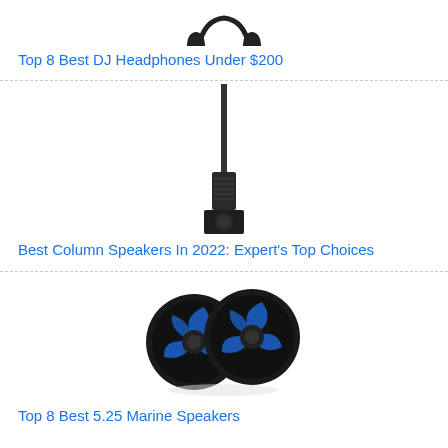[Figure (photo): DJ headphones product image, partially visible at top of page]
Top 8 Best DJ Headphones Under $200
[Figure (photo): Column speaker (tall slim black column speaker on a box subwoofer base) product image]
Best Column Speakers In 2022: Expert's Top Choices
[Figure (photo): Two round black marine speakers with blue illuminated swirl design, product image]
Top 8 Best 5.25 Marine Speakers